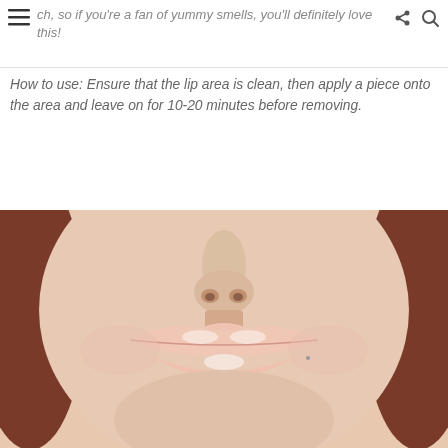ch, so if you're a fan of yummy smells, you'll definitely love this!
How to use: Ensure that the lip area is clean, then apply a piece onto the area and leave on for 10-20 minutes before removing.
[Figure (photo): Close-up photo of a person's lower face showing nose, lips with a glossy lip mask applied, and chin. The person has reddish-brown hair visible on both sides.]